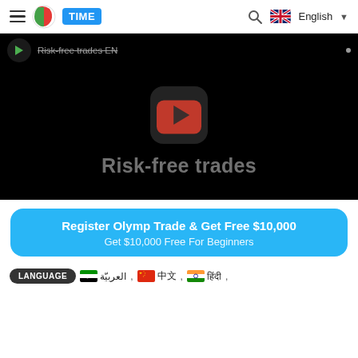TIME | English
[Figure (screenshot): YouTube-style video thumbnail with dark background showing 'Risk-free trades' text and a play button overlay]
Register Olymp Trade & Get Free $10,000
Get $10,000 Free For Beginners
LANGUAGE  العربيّة , 中文 , हिंदी ,